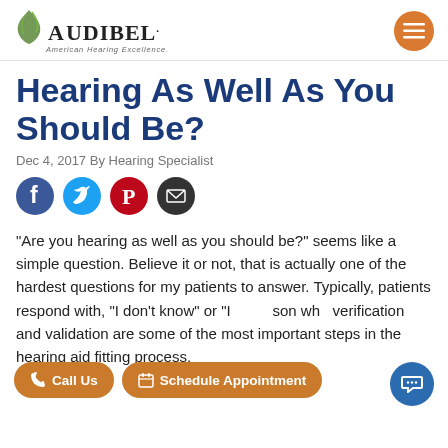[Figure (logo): Audibel logo with leaf graphic and tagline 'American Hearing Excellence.']
Hearing As Well As You Should Be?
Dec 4, 2017 By Hearing Specialist
[Figure (other): Social sharing icons: Facebook, Twitter, Pinterest, Email]
“Are you hearing as well as you should be?” seems like a simple question. Believe it or not, that is actually one of the hardest questions for my patients to answer. Typically, patients respond with, “I don’t know” or “[I guess so.” The reason why verification and validation are some of the most important steps in the hearing aid fitting process.